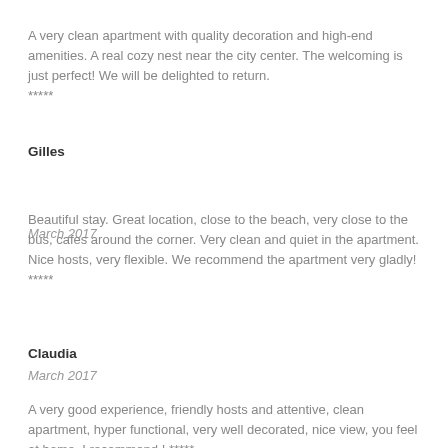A very clean apartment with quality decoration and high-end amenities. A real cozy nest near the city center. The welcoming is just perfect! We will be delighted to return. *****
Gilles
March 2017
Beautiful stay. Great location, close to the beach, very close to the bus, cafes around the corner. Very clean and quiet in the apartment. Nice hosts, very flexible. We recommend the apartment very gladly! *****
Claudia
March 2017
A very good experience, friendly hosts and attentive, clean apartment, hyper functional, very well decorated, nice view, you feel at home. I recommend ! *****